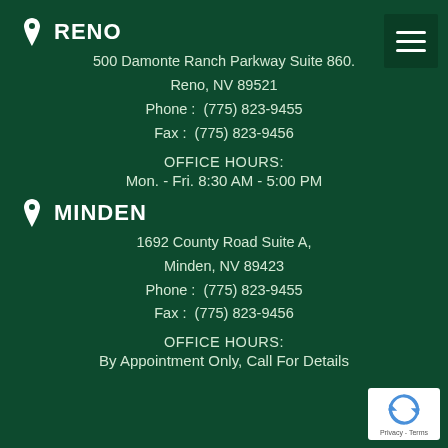RENO
500 Damonte Ranch Parkway Suite 860.
Reno, NV 89521
Phone :  (775) 823-9455
Fax :  (775) 823-9456
OFFICE HOURS:
Mon. - Fri. 8:30 AM - 5:00 PM
MINDEN
1692 County Road Suite A,
Minden, NV 89423
Phone :  (775) 823-9455
Fax :  (775) 823-9456
OFFICE HOURS:
By Appointment Only, Call For Details